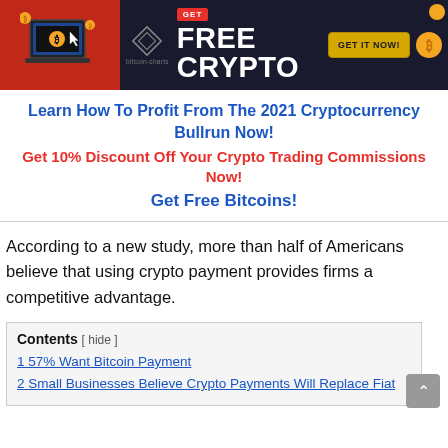[Figure (infographic): Dark-themed banner ad with red left panel showing laptop with Bitcoin, diamond logo for bitcoin-charts, GET FREE CRYPTO headline in white bold text, yellow GET IT NOW button, and gold Bitcoin coins.]
Learn How To Profit From The 2021 Cryptocurrency Bullrun Now!
Get 10% Discount Off Your Crypto Trading Commissions Now!
Get Free Bitcoins!
According to a new study, more than half of Americans believe that using crypto payment provides firms a competitive advantage.
Contents [ hide ]
1 57% Want Bitcoin Payment
2 Small Businesses Believe Crypto Payments Will Replace Fiat